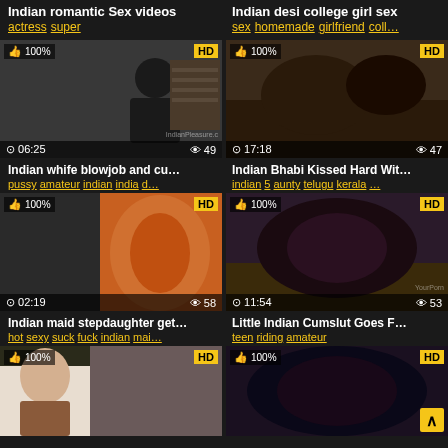Indian romantic Sex videos
actress super
Indian desi college girl sex
sex homemade girlfriend coll…
[Figure (screenshot): Video thumbnail 1, 06:25, 49 views, 100% like, HD badge, IndianPleasure watermark]
[Figure (screenshot): Video thumbnail 2, 17:18, 47 views, 100% like, HD badge]
Indian whife blowjob and cu…
pussy amateur indian india d…
Indian Bhabi Kissed Hard Wit…
indian 5 aunty telugu kerala …
[Figure (screenshot): Video thumbnail 3, 02:19, 58 views, 100% like, HD badge]
[Figure (screenshot): Video thumbnail 4, 11:54, 53 views, 100% like, HD badge, YourPorn watermark]
Indian maid stepdaughter get…
hot sexy suck fuck indian mai…
Little Indian Cumslut Goes F…
teen riding amateur
[Figure (screenshot): Video thumbnail 5, 100% like, HD badge, partial view]
[Figure (screenshot): Video thumbnail 6, 100% like, HD badge, partial view]